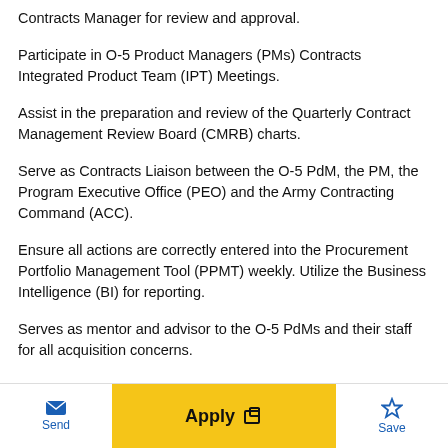Contracts Manager for review and approval.
Participate in O-5 Product Managers (PMs) Contracts Integrated Product Team (IPT) Meetings.
Assist in the preparation and review of the Quarterly Contract Management Review Board (CMRB) charts.
Serve as Contracts Liaison between the O-5 PdM, the PM, the Program Executive Office (PEO) and the Army Contracting Command (ACC).
Ensure all actions are correctly entered into the Procurement Portfolio Management Tool (PPMT) weekly. Utilize the Business Intelligence (BI) for reporting.
Serves as mentor and advisor to the O-5 PdMs and their staff for all acquisition concerns.